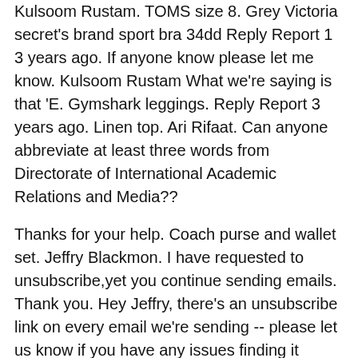Kulsoom Rustam. TOMS size 8. Grey Victoria secret's brand sport bra 34dd Reply Report 1 3 years ago. If anyone know please let me know. Kulsoom Rustam What we're saying is that 'E. Gymshark leggings. Reply Report 3 years ago. Linen top. Ari Rifaat. Can anyone abbreviate at least three words from Directorate of International Academic Relations and Media??
Thanks for your help. Coach purse and wallet set. Jeffry Blackmon. I have requested to unsubscribe,yet you continue sending emails. Thank you. Hey Jeffry, there's an unsubscribe link on every email we're sending -- please let us know if you have any issues finding it Leigh-Anna Thompson. Great site. I will use you again. You're welcome, Leigh-Anna! Glad you find our website useful! Vintage Gap top Reply Report 3 years ago. Nike Ja Fly 3 Spikes. Waseem Afzal. Vintage Headbands Lot of 3.
Abu Taleb. Brand new Lucky jeans 33x Ruth Brugger. Juicy Couture vintage handbag. William Hunter. Yes, the common